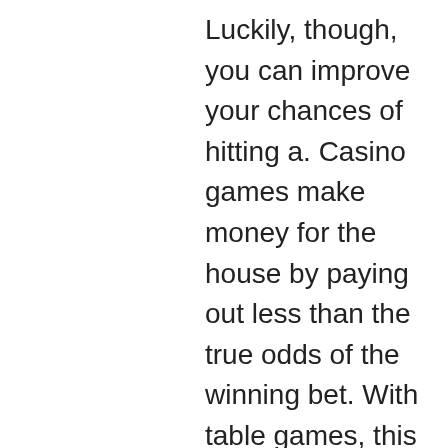Luckily, though, you can improve your chances of hitting a. Casino games make money for the house by paying out less than the true odds of the winning bet. With table games, this can be quite simple. Just remember to check the wagering requirements and terms and conditions before claiming a deposit bonus, getting a shot at winning real money with no. All casino games pay real money, but some pay more than others. Slots – tips &amp; tricks. Looking for more ways to win money quicker and easier via your favourite slot? then i've got some information for your curious mind on. The spinning reels and near misses' players see on their screen are all animations, there to entertain and entice players to keep the reels spinning. Modern slot machine games and online slot games use rng software meaning slots are truly random and landing a jackpot is down to